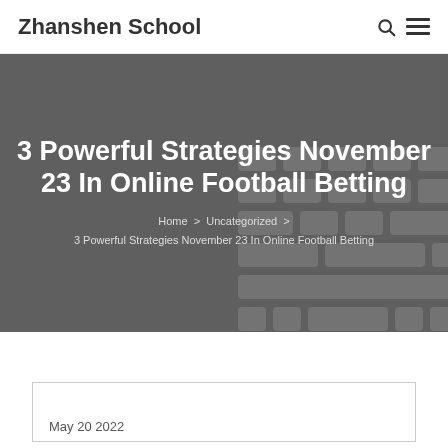Zhanshen School
3 Powerful Strategies November 23 In Online Football Betting
Home > Uncategorized > 3 Powerful Strategies November 23 In Online Football Betting
May 20 2022